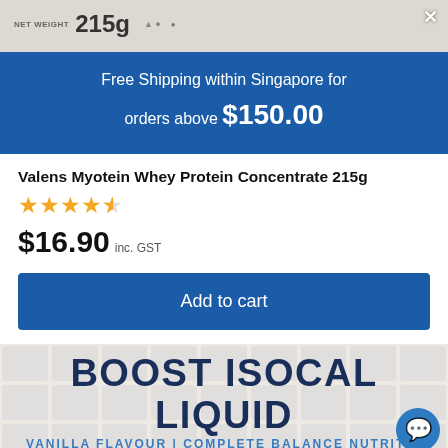[Figure (photo): Product package image showing NET WEIGHT 215g label at top]
Free Shipping within Singapore for orders above $150.00
Valens Myotein Whey Protein Concentrate 215g
★★★★½
$16.90 inc. GST
Add to cart
[Figure (photo): BOOST ISOCAL LIQUID - VANILLA FLAVOUR | COMPLETE BALANCE NUTRITION product banner]